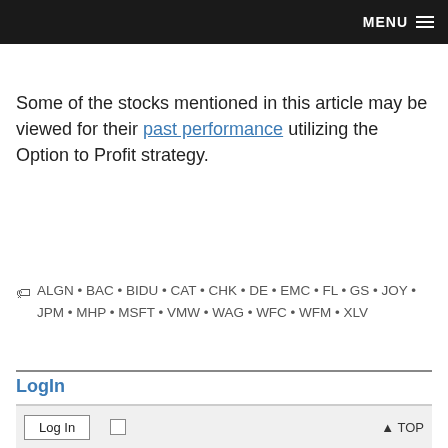MENU
Some of the stocks mentioned in this article may be viewed for their past performance utilizing the Option to Profit strategy.
ALGN • BAC • BIDU • CAT • CHK • DE • EMC • FL • GS • JOY • JPM • MHP • MSFT • VMW • WAG • WFC • WFM • XLV
LogIn
|  |  |
| --- | --- |
| Username |  |
| Password |  |